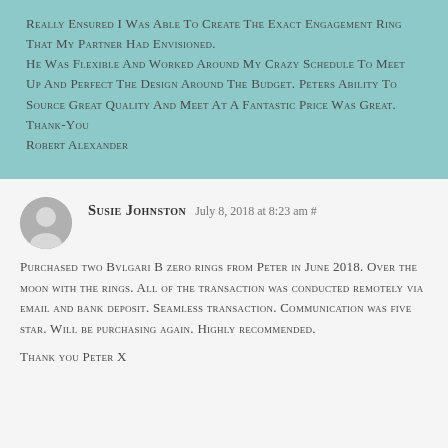really ensured I was able to create the exact engagement ring that my partner had envisioned.
He was flexible and worked around my crazy schedule to meet up and perfect the design around the budget. Peters ability to source great quality and meet at a fantastic price was great.
Thank-you
Robert Alexander
Susie Johnston July 8, 2018 at 8:23 am #
Purchased two Bvlgari B zero rings from Peter in June 2018. Over the moon with the rings. All of the transaction was conducted remotely via email and bank deposit. Seamless transaction. Communication was five star. Will be purchasing again. Highly recommended.
Thank you Peter X